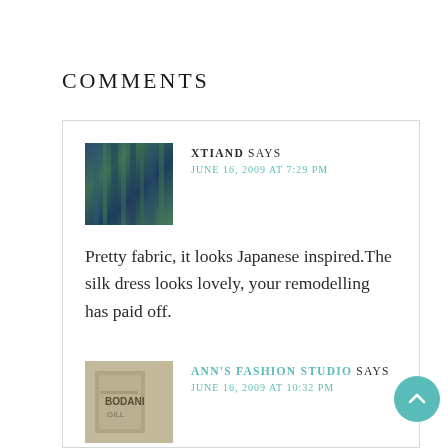COMMENTS
XTIAND SAYS
JUNE 16, 2009 AT 7:29 PM
Pretty fabric, it looks Japanese inspired.The silk dress looks lovely, your remodelling has paid off.
ANN'S FASHION STUDIO SAYS
JUNE 16, 2009 AT 10:32 PM